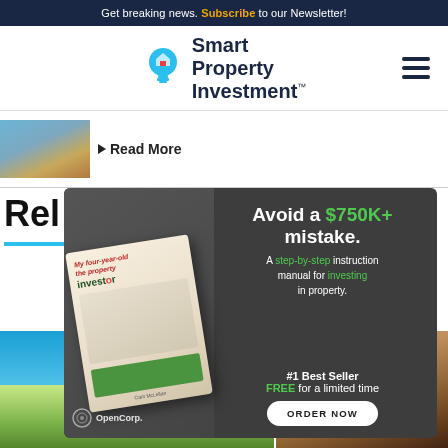Get breaking news. Subscribe to our Newsletter!
[Figure (logo): Smart Property Investment logo with lightbulb icon]
Read More
[Figure (photo): Apartment building exterior thumbnail image]
Rel
[Figure (infographic): Advertisement: Avoid a $750K+ mistake. A step-by-step instruction manual for investing in property. #1 Best Seller FREE for a limited time. ORDER NOW. OpenCorp. Book: My four-year-old the property investor.]
[Figure (photo): Aerial view of beach city coastline]
[Figure (photo): Interior of a venue with circular tables]
New to property investment? Get the best-selling guide to investing CLAIM MY FREE COPY